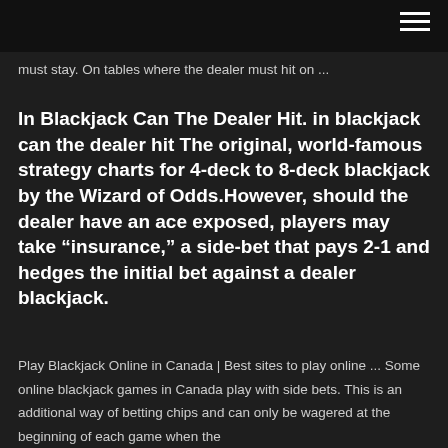must stay. On tables where the dealer must hit on ...
In Blackjack Can The Dealer Hit. in blackjack can the dealer hit The original, world-famous strategy charts for 4-deck to 8-deck blackjack by the Wizard of Odds.However, should the dealer have an ace exposed, players may take “insurance,” a side-bet that pays 2-1 and hedges the initial bet against a dealer blackjack.
Play Blackjack Online in Canada | Best sites to play online ... Some online blackjack games in Canada play with side bets. This is an additional way of betting chips and can only be wagered at the beginning of each game when the